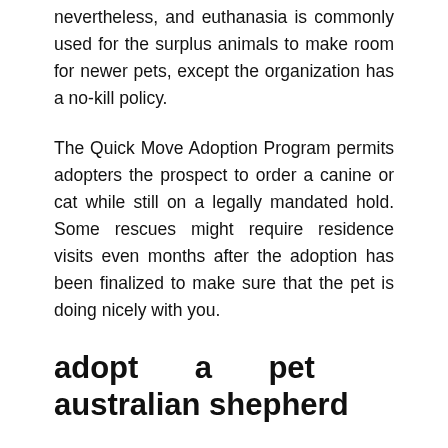nevertheless, and euthanasia is commonly used for the surplus animals to make room for newer pets, except the organization has a no-kill policy.
The Quick Move Adoption Program permits adopters the prospect to order a canine or cat while still on a legally mandated hold. Some rescues might require residence visits even months after the adoption has been finalized to make sure that the pet is doing nicely with you.
adopt a pet australian shepherd
There are two main differences between shelters and rescue groups. You find a pet you wish to undertake and before you come. If the animal is in the right place,